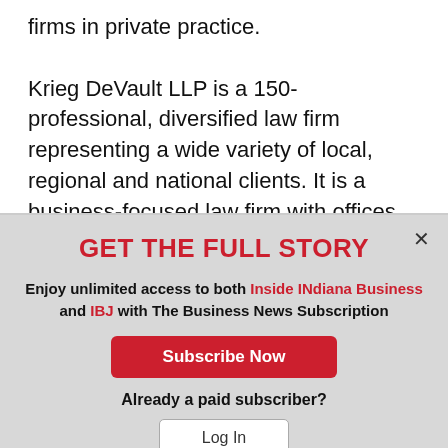firms in private practice.

Krieg DeVault LLP is a 150-professional, diversified law firm representing a wide variety of local, regional and national clients. It is a business-focused law firm with offices Indiana, Illinois,
GET THE FULL STORY
Enjoy unlimited access to both Inside INdiana Business and IBJ with The Business News Subscription
Subscribe Now
Already a paid subscriber?
Log In